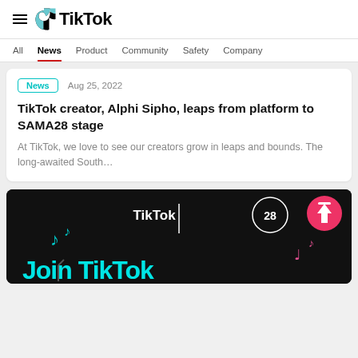TikTok
All   News   Product   Community   Safety   Company
News   Aug 25, 2022
TikTok creator, Alphi Sipho, leaps from platform to SAMA28 stage
At TikTok, we love to see our creators grow in leaps and bounds. The long-awaited South…
[Figure (photo): Dark promotional image showing TikTok and SAMA28 branding with teal music notes and partial text reading 'Join TikTok']